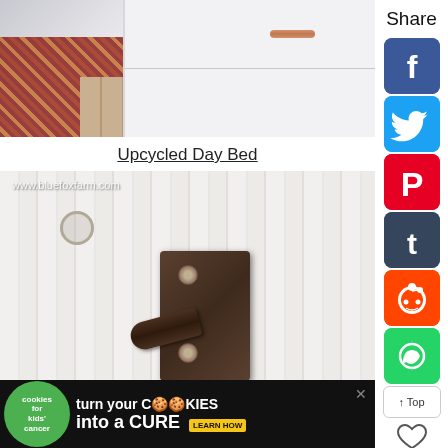[Figure (photo): White cabinet/daybed with copper-colored cylindrical handle, red patterned rug on floor in background]
Upcycled Day Bed
[Figure (photo): Close-up of whitewashed wooden board with dark metal bolt latch hardware, screws visible top and bottom, latch lever shown. Watermark: www.bluefoxfarm.com]
[Figure (infographic): Advertisement bar: Cookies for Kids' Cancer - turn your cookies into a CURE - LEARN HOW]